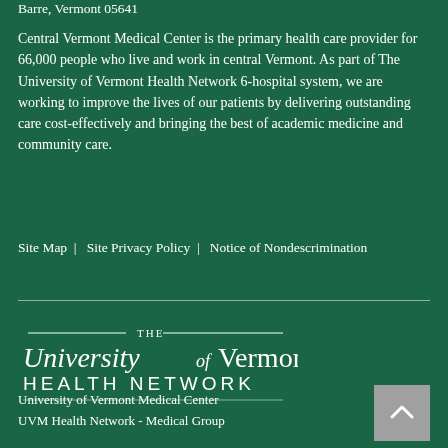Barre, Vermont 05641
Central Vermont Medical Center is the primary health care provider for 66,000 people who live and work in central Vermont. As part of The University of Vermont Health Network 6-hospital system, we are working to improve the lives of our patients by delivering outstanding care cost-effectively and bringing the best of academic medicine and community care.
Site Map  |   Site Privacy Policy  |   Notice of Nondescrimination
[Figure (logo): The University of Vermont Health Network logo in white on dark green background]
University of Vermont Medical Center
UVM Health Network - Medical Group